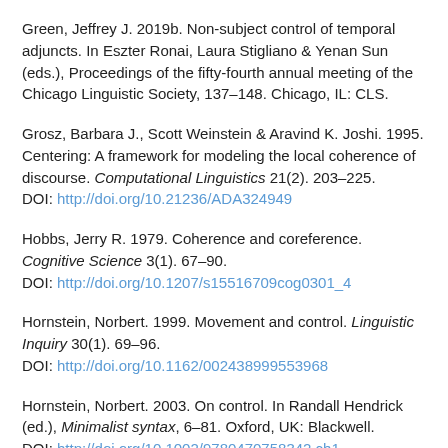Green, Jeffrey J. 2019b. Non-subject control of temporal adjuncts. In Eszter Ronai, Laura Stigliano & Yenan Sun (eds.), Proceedings of the fifty-fourth annual meeting of the Chicago Linguistic Society, 137–148. Chicago, IL: CLS.
Grosz, Barbara J., Scott Weinstein & Aravind K. Joshi. 1995. Centering: A framework for modeling the local coherence of discourse. Computational Linguistics 21(2). 203–225. DOI: http://doi.org/10.21236/ADA324949
Hobbs, Jerry R. 1979. Coherence and coreference. Cognitive Science 3(1). 67–90. DOI: http://doi.org/10.1207/s15516709cog0301_4
Hornstein, Norbert. 1999. Movement and control. Linguistic Inquiry 30(1). 69–96. DOI: http://doi.org/10.1162/002438999553968
Hornstein, Norbert. 2003. On control. In Randall Hendrick (ed.), Minimalist syntax, 6–81. Oxford, UK: Blackwell. DOI: http://doi.org/10.1002/9780470758342.ch1